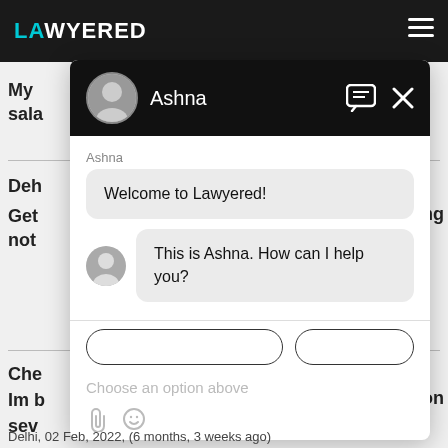[Figure (screenshot): Screenshot of the Lawyered website with a live chat widget open. The chat window shows an agent named Ashna with messages: 'Welcome to Lawyered!' and 'This is Ashna. How can I help you?'. The input area shows 'Choose an option above'. Background page text partially visible includes 'My', 'sala', 'Deh', 'Get', 'not', 'Che', 'Im b', 'sev'. Date shown: Delhi, 02 Feb, 2022, (6 months, 3 weeks ago).]
Delhi,  02 Feb, 2022,  (6 months, 3 weeks ago)